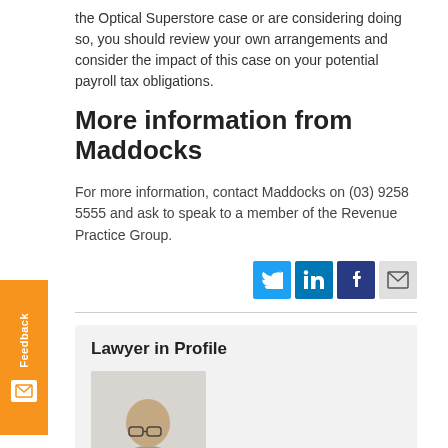the Optical Superstore case or are considering doing so, you should review your own arrangements and consider the impact of this case on your potential payroll tax obligations.
More information from Maddocks
For more information, contact Maddocks on (03) 9258 5555 and ask to speak to a member of the Revenue Practice Group.
[Figure (infographic): Social sharing icons: Twitter (blue bird), LinkedIn (blue), Facebook (dark blue), Email (grey envelope)]
Lawyer in Profile
[Figure (photo): Headshot photo of a lawyer wearing glasses, partially visible at bottom of page]